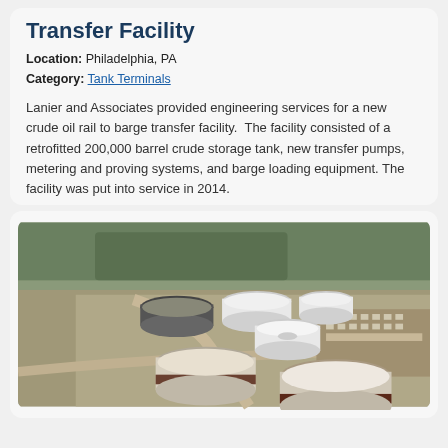Transfer Facility
Location: Philadelphia, PA
Category: Tank Terminals
Lanier and Associates provided engineering services for a new crude oil rail to barge transfer facility. The facility consisted of a retrofitted 200,000 barrel crude storage tank, new transfer pumps, metering and proving systems, and barge loading equipment. The facility was put into service in 2014.
[Figure (photo): Aerial photograph of a crude oil tank farm facility showing multiple large white cylindrical storage tanks, an access road, surrounding industrial land, and one dark-banded open-top tank in the foreground.]